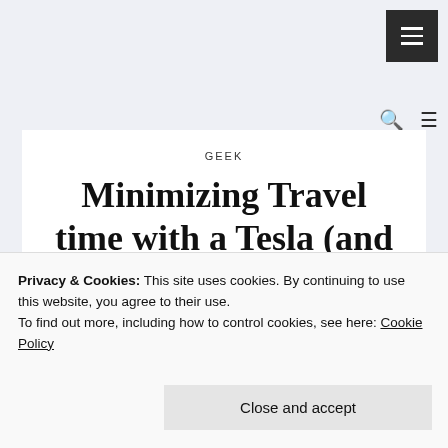☰ (hamburger menu button)
GEEK
Minimizing Travel time with a Tesla (and Bolt)
geeks, but it took me some time playing
Privacy & Cookies: This site uses cookies. By continuing to use this website, you agree to their use.
To find out more, including how to control cookies, see here: Cookie Policy
Close and accept